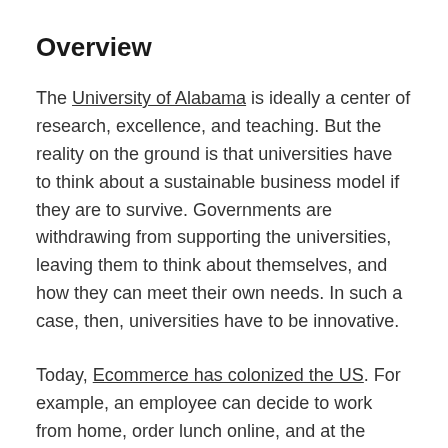Overview
The University of Alabama is ideally a center of research, excellence, and teaching. But the reality on the ground is that universities have to think about a sustainable business model if they are to survive. Governments are withdrawing from supporting the universities, leaving them to think about themselves, and how they can meet their own needs. In such a case, then, universities have to be innovative.
Today, Ecommerce has colonized the US. For example, an employee can decide to work from home, order lunch online, and at the same time, take an online refresher course. However, when it comes to higher education, ecommerce has not effectively penetrated this space, and a lot needs to be done to exploit the immense power of ecommerce. The fact is that ecommerce is not a preserve